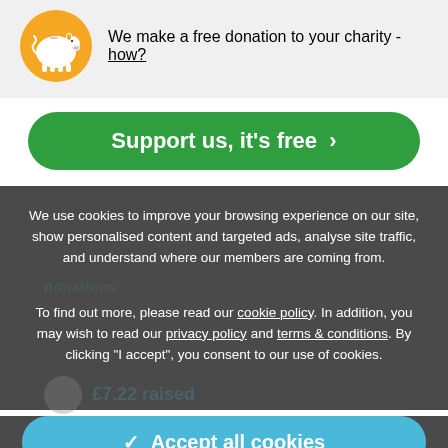We make a free donation to your charity - how?
Support us, it's free >
We use cookies to improve your browsing experience on our site, show personalised content and targeted ads, analyse site traffic, and understand where our members are coming from.
To find out more, please read our cookie policy. In addition, you may wish to read our privacy policy and terms & conditions. By clicking "I accept", you consent to our use of cookies.
✓ Accept all cookies
⚙ Manage settings
£3.33 raised